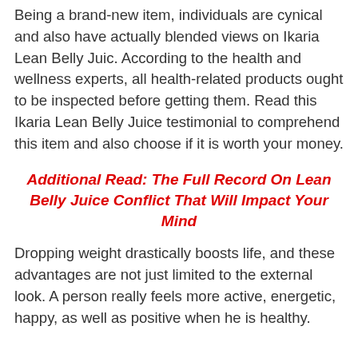Being a brand-new item, individuals are cynical and also have actually blended views on Ikaria Lean Belly Juic. According to the health and wellness experts, all health-related products ought to be inspected before getting them. Read this Ikaria Lean Belly Juice testimonial to comprehend this item and also choose if it is worth your money.
Additional Read: The Full Record On Lean Belly Juice Conflict That Will Impact Your Mind
Dropping weight drastically boosts life, and these advantages are not just limited to the external look. A person really feels more active, energetic, happy, as well as positive when he is healthy.